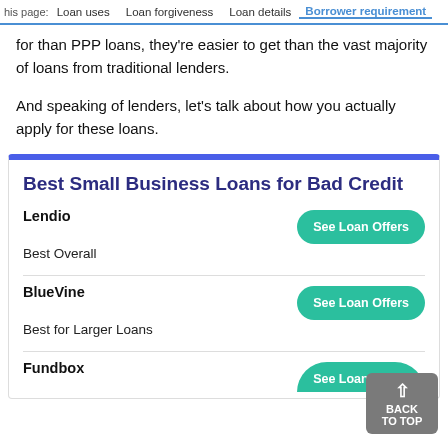his page:  Loan uses  Loan forgiveness  Loan details  Borrower requirements
for than PPP loans, they're easier to get than the vast majority of loans from traditional lenders.
And speaking of lenders, let's talk about how you actually apply for these loans.
Best Small Business Loans for Bad Credit
Lendio — Best Overall — See Loan Offers
BlueVine — Best for Larger Loans — See Loan Offers
Fundbox — See Loan Offers